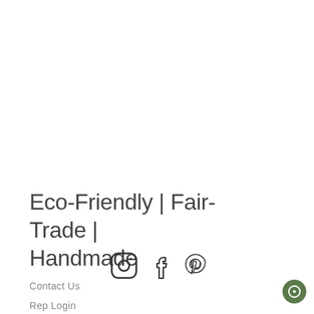Eco-Friendly | Fair-Trade | Handmade
[Figure (infographic): Social media icons: Instagram, Facebook, Pinterest]
Contact Us
Rep Login